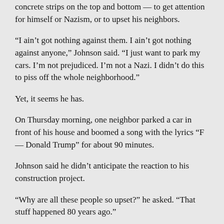concrete strips on the top and bottom — to get attention for himself or Nazism, or to upset his neighbors.
“I ain’t got nothing against them. I ain’t got nothing against anyone,” Johnson said. “I just want to park my cars. I’m not prejudiced. I’m not a Nazi. I didn’t do this to piss off the whole neighborhood.”
Yet, it seems he has.
On Thursday morning, one neighbor parked a car in front of his house and boomed a song with the lyrics “F— Donald Trump” for about 90 minutes.
Johnson said he didn’t anticipate the reaction to his construction project.
“Why are all these people so upset?” he asked. “That stuff happened 80 years ago.”